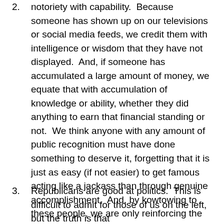notoriety with capability.  Because someone has shown up on our televisions or social media feeds, we credit them with intelligence or wisdom that they have not displayed.  And, if someone has accumulated a large amount of money, we equate that with accumulation of knowledge or ability, whether they did anything to earn that financial standing or not.  We think anyone with any amount of public recognition must have done something to deserve it, forgetting that it is just as easy (if not easier) to get famous acting like a jackass than through genuine accomplishment.  And, by kowtowing to these people, we are only reinforcing the illusion that they somehow are deserving of this recognition, deference, or respect.
Republicans are good at politics.  This is difficult to admit for those of us on the left, but the truth is that